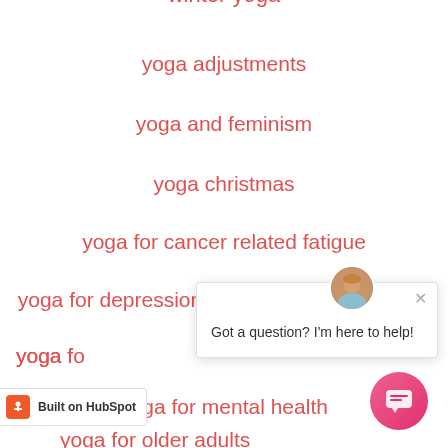winter yoga
yoga adjustments
yoga and feminism
yoga christmas
yoga for cancer related fatigue
yoga for depression
yoga fo[r weight loss]
yoga for mental health
yoga for older adults